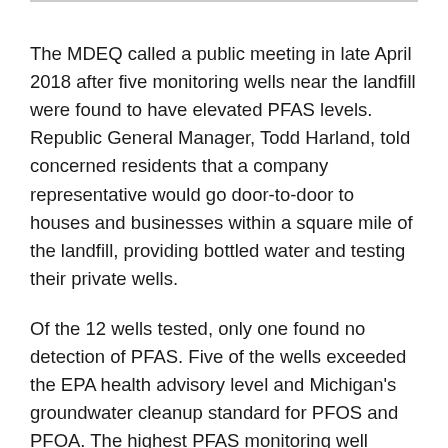The MDEQ called a public meeting in late April 2018 after five monitoring wells near the landfill were found to have elevated PFAS levels. Republic General Manager, Todd Harland, told concerned residents that a company representative would go door-to-door to houses and businesses within a square mile of the landfill, providing bottled water and testing their private wells.
Of the 12 wells tested, only one found no detection of PFAS. Five of the wells exceeded the EPA health advisory level and Michigan's groundwater cleanup standard for PFOS and PFOA. The highest PFAS monitoring well detection was 1,062 ppt.